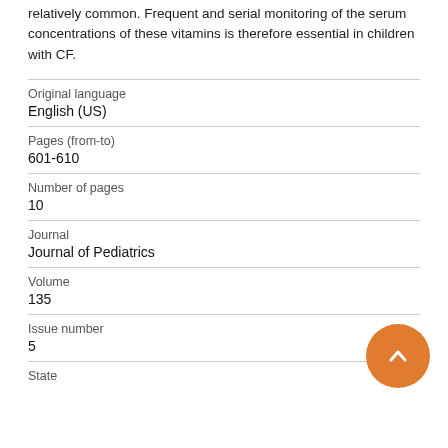relatively common. Frequent and serial monitoring of the serum concentrations of these vitamins is therefore essential in children with CF.
| Original language | English (US) |
| Pages (from-to) | 601-610 |
| Number of pages | 10 |
| Journal | Journal of Pediatrics |
| Volume | 135 |
| Issue number | 5 |
| State |  |